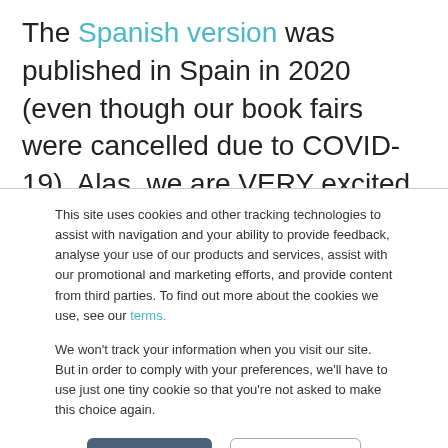The Spanish version was published in Spain in 2020 (even though our book fairs were cancelled due to COVID-19). Alas, we are VERY excited to be launching 'Brain-Friendly
This site uses cookies and other tracking technologies to assist with navigation and your ability to provide feedback, analyse your use of our products and services, assist with our promotional and marketing efforts, and provide content from third parties. To find out more about the cookies we use, see our terms.
We won't track your information when you visit our site. But in order to comply with your preferences, we'll have to use just one tiny cookie so that you're not asked to make this choice again.